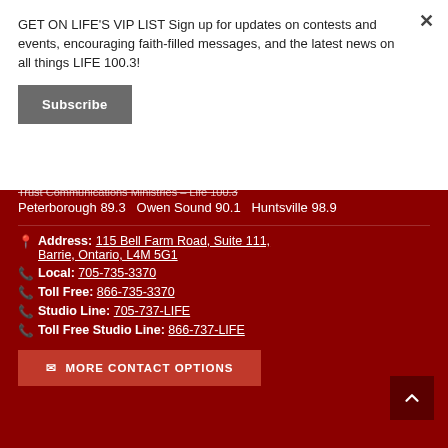GET ON LIFE'S VIP LIST Sign up for updates on contests and events, encouraging faith-filled messages, and the latest news on all things LIFE 100.3!
Subscribe
Trust Communications Ministries – Life 100.3
Peterborough 89.3   Owen Sound 90.1   Huntsville 98.9
Address: 115 Bell Farm Road, Suite 111, Barrie, Ontario, L4M 5G1
Local: 705-735-3370
Toll Free: 866-735-3370
Studio Line: 705-737-LIFE
Toll Free Studio Line: 866-737-LIFE
MORE CONTACT OPTIONS